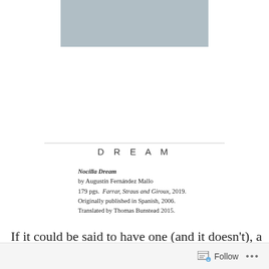[Figure (photo): A grayish-blue rectangular image placeholder at the top center of the page]
DREAM
Nocilla Dream
by Augustín Fernández Mallo
179 pgs.  Farrar, Straus and Giroux, 2019.
Originally published in Spanish, 2006.
Translated by Thomas Bunstead 2015.
If it could be said to have one (and it doesn't), a lone shoe-covered tree standing along the loneliest road in America (US Route 50 in Nevada) would be the polestar of
Follow  ...